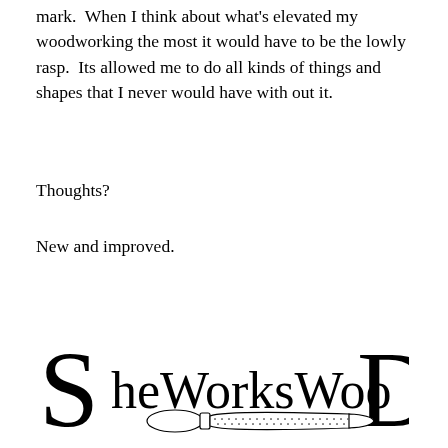mark.  When I think about what's elevated my woodworking the most it would have to be the lowly rasp.  Its allowed me to do all kinds of things and shapes that I never would have with out it.
Thoughts?
New and improved.
[Figure (logo): SheWorksWood logo with stylized large S and D letters, and a rasp/file tool illustration in the center spelling out 'SheWorksWood']